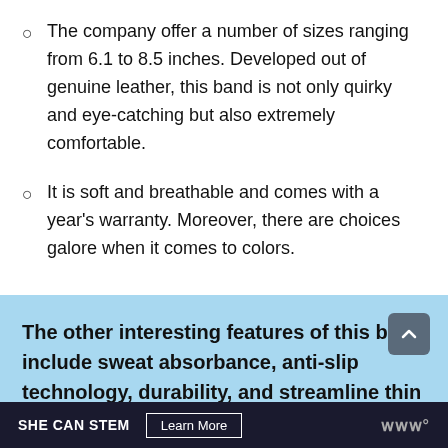The company offer a number of sizes ranging from 6.1 to 8.5 inches. Developed out of genuine leather, this band is not only quirky and eye-catching but also extremely comfortable.
It is soft and breathable and comes with a year's warranty. Moreover, there are choices galore when it comes to colors.
The other interesting features of this band include sweat absorbance, anti-slip technology, durability, and streamline thin design. The silver metal buckle on the
SHE CAN STEM   Learn More